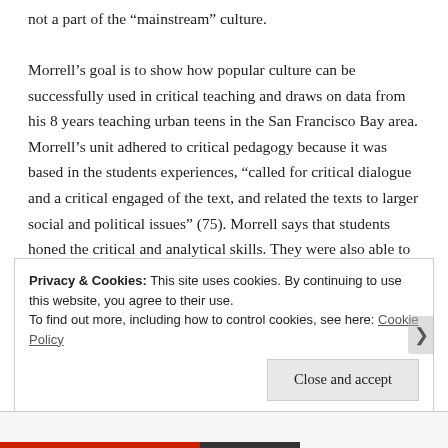not a part of the “mainstream” culture.

Morrell’s goal is to show how popular culture can be successfully used in critical teaching and draws on data from his 8 years teaching urban teens in the San Francisco Bay area. Morrell’s unit adhered to critical pedagogy because it was based in the students experiences, “called for critical dialogue and a critical engaged of the text, and related the texts to larger social and political issues” (75). Morrell says that students honed the critical and analytical skills. They were also able to make connections between
Privacy & Cookies: This site uses cookies. By continuing to use this website, you agree to their use.
To find out more, including how to control cookies, see here: Cookie Policy
Close and accept